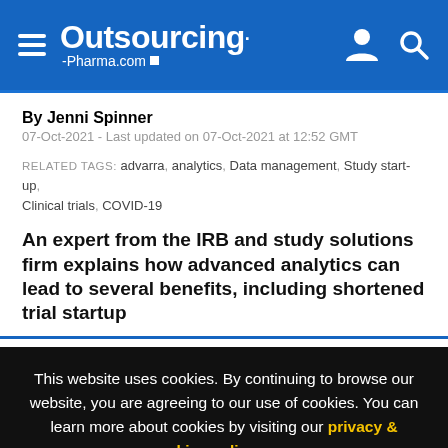Outsourcing-Pharma.com
By Jenni Spinner
07-Oct-2021 - Last updated on 07-Oct-2021 at 12:52 GMT
RELATED TAGS: advarra, analytics, Data management, Study start-up, Clinical trials, COVID-19
An expert from the IRB and study solutions firm explains how advanced analytics can lead to several benefits, including shortened trial startup
This website uses cookies. By continuing to browse our website, you are agreeing to our use of cookies. You can learn more about cookies by visiting our privacy & cookies policy page.
I Agree